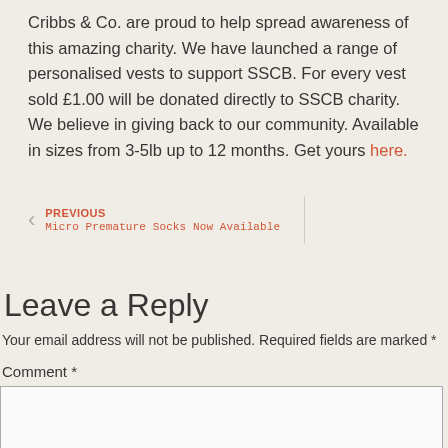Cribbs & Co. are proud to help spread awareness of this amazing charity. We have launched a range of personalised vests to support SSCB. For every vest sold £1.00 will be donated directly to SSCB charity. We believe in giving back to our community. Available in sizes from 3-5lb up to 12 months. Get yours here.
PREVIOUS
Micro Premature Socks Now Available
Leave a Reply
Your email address will not be published. Required fields are marked *
Comment *